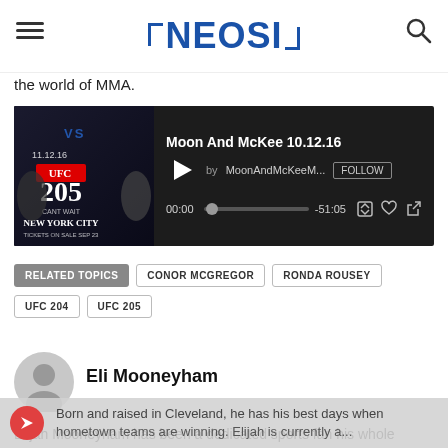NEOSI
the world of MMA.
[Figure (other): Audio player embed showing Moon And McKee 10.12.16 podcast by MoonAndMcKeeM... with FOLLOW button, play button, time 00:00, progress bar, end time -51:05, and playback controls. Thumbnail shows UFC 205 New York City promotional image with VS fighters.]
RELATED TOPICS
CONOR MCGREGOR
RONDA ROUSEY
UFC 204
UFC 205
[Figure (photo): Circular avatar placeholder icon (gray silhouette of a person)]
Eli Mooneyham
Elijah Mooneyham has been a dedicated sports fan his whole life. Born and raised in Cleveland, he has his best days when hometown teams are winning. Elijah is currently a...